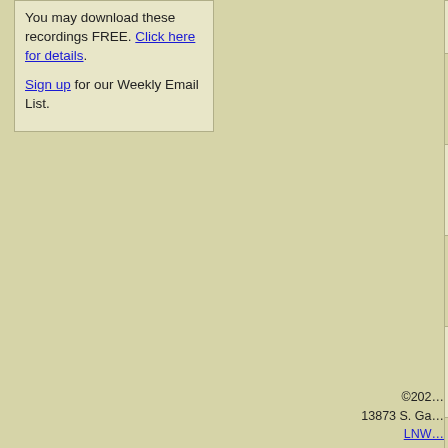You may download these recordings FREE. Click here for details.

Sign up for our Weekly Email List.
| * | Title |
| --- | --- |
|  | Love One Another |
| * | One in Purpose, One in Pa... |
| * | One in Purpose, One in Pa... |
|  | The Good Samaritan |
| * | The Love of God |
| * | Your Ceaseless, Unexhau... |
©202...
13873 S. Ga...
LNW...